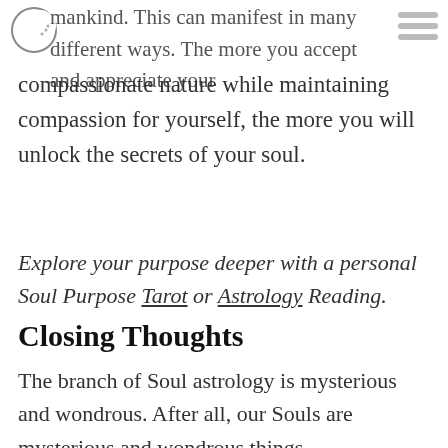mankind. This can manifest in many different ways. The more you accept and appreciate your compassionate nature while maintaining compassion for yourself, the more you will unlock the secrets of your soul.
Explore your purpose deeper with a personal Soul Purpose Tarot or Astrology Reading.
Closing Thoughts
The branch of Soul astrology is mysterious and wondrous. After all, our Souls are mysterious and wondrous things.